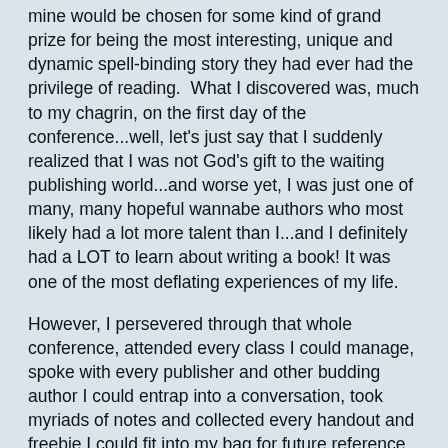mine would be chosen for some kind of grand prize for being the most interesting, unique and dynamic spell-binding story they had ever had the privilege of reading.  What I discovered was, much to my chagrin, on the first day of the conference...well, let's just say that I suddenly realized that I was not God's gift to the waiting publishing world...and worse yet, I was just one of many, many hopeful wannabe authors who most likely had a lot more talent than I...and I definitely had a LOT to learn about writing a book! It was one of the most deflating experiences of my life.
However, I persevered through that whole conference, attended every class I could manage, spoke with every publisher and other budding author I could entrap into a conversation, took myriads of notes and collected every handout and freebie I could fit into my bag for future reference.  I was determined not to become discouraged, but I had to totally reevaluate my whole scheme of writing.  The book idea was put back on the shelf.  It just wasn't the right time for that yet.
What was I to do with all of that new knowledge and eye-opening experience?  I couldn't just give up on writing, could